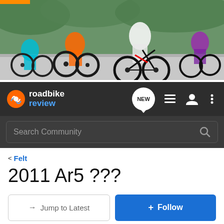[Figure (photo): Hero image of road cyclists racing, blurred background with colorful jerseys and bicycle wheels visible]
roadbike review — navigation bar with NEW chat bubble, list icon, user icon, and menu icon
Search Community
< Felt
2011 Ar5 ???
→ Jump to Latest
+ Follow
REVIEWS  EDITORIAL  DEALS